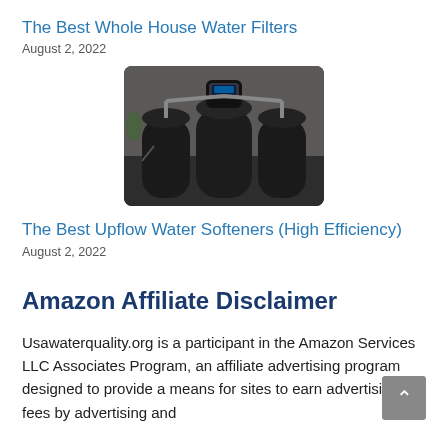The Best Whole House Water Filters
August 2, 2022
[Figure (photo): Photo of whole house water filter system with black tanks and a control valve head]
The Best Upflow Water Softeners (High Efficiency)
August 2, 2022
Amazon Affiliate Disclaimer
Usawaterquality.org is a participant in the Amazon Services LLC Associates Program, an affiliate advertising program designed to provide a means for sites to earn advertising fees by advertising and